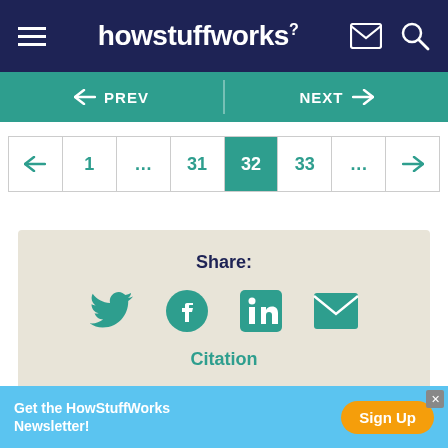howstuffworks
[Figure (infographic): Navigation bar with PREV and NEXT buttons in teal]
[Figure (infographic): Pagination bar showing pages: left arrow, 1, ..., 31, 32 (active/teal), 33, ..., right arrow]
[Figure (infographic): Share box with Share: label, Twitter, Facebook, LinkedIn, Email icons, and Citation link]
Get the HowStuffWorks Newsletter!
Sign Up